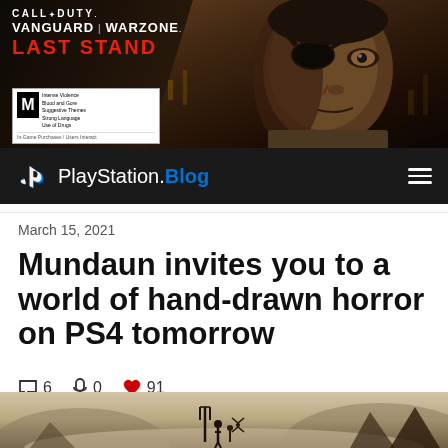[Figure (screenshot): Call of Duty: Vanguard | Warzone LAST STAND promotional banner with a close-up of a character with an eye patch against a dark urban background. ESRB M rating box visible. Rated M for Mature: Intense Violence, Blood and Gore, Suggestive Themes, Strong Language, Use of Drugs. In-Game Purchases / Users Interact.]
PlayStation.Blog
March 15, 2021
Mundaun invites you to a world of hand-drawn horror on PS4 tomorrow
6  0  91
[Figure (photo): Mundaun game screenshot showing a hand-drawn stylized scene with a figure and a creature in a misty landscape]